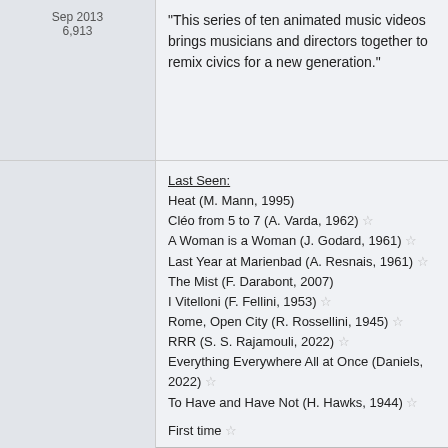Sep 2013
6,913
"This series of ten animated music videos brings musicians and directors together to remix civics for a new generation."
Last Seen:
Heat (M. Mann, 1995)
Cléo from 5 to 7 (A. Varda, 1962) ☆
A Woman is a Woman (J. Godard, 1961) ☆
Last Year at Marienbad (A. Resnais, 1961) ☆
The Mist (F. Darabont, 2007)
I Vitelloni (F. Fellini, 1953) ☆
Rome, Open City (R. Rossellini, 1945) ☆
RRR (S. S. Rajamouli, 2022) ☆
Everything Everywhere All at Once (Daniels, 2022) ☆
To Have and Have Not (H. Hawks, 1944) ☆
First time ☆
Reply With Quote
#2337